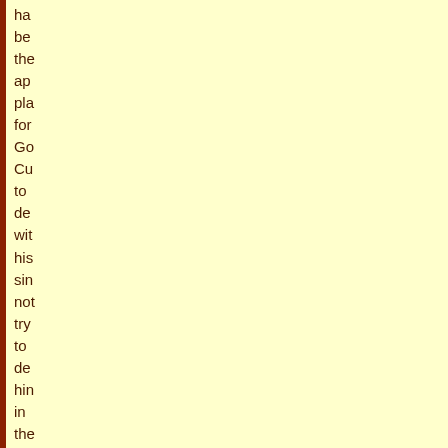ha
be
the
ap
pla
for
Go
Cu
to
de
wit
his
sin
not
try
to
de
hin
in
the
me
Mo
of
the